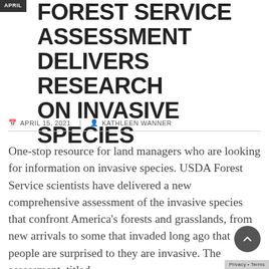APRIL
FOREST SERVICE ASSESSMENT DELIVERS RESEARCH ON INVASIVE SPECIES
APRIL 15, 2021 | KATHLEEN WANNER
One-stop resource for land managers who are looking for information on invasive species. USDA Forest Service scientists have delivered a new comprehensive assessment of the invasive species that confront America's forests and grasslands, from new arrivals to some that invaded long ago that people are surprised to they are invasive. The assessment, titled...